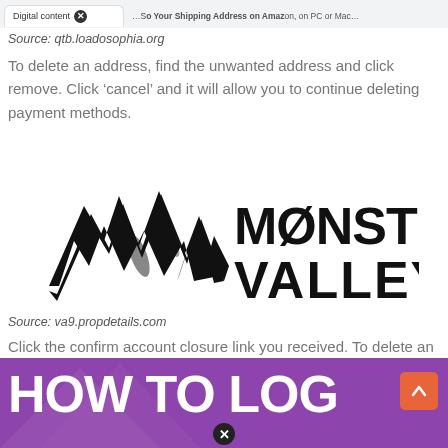[Figure (screenshot): Browser tab bar showing 'Digital content' tab with close button and address bar showing shipping address text]
Source: qtb.loadosophia.org
To delete an address, find the unwanted address and click remove. Click ‘cancel’ and it will allow you to continue deleting payment methods.
[Figure (logo): Monster Valley logo with stylized lightning bolt M and bold text MONSTER VALLEY]
Source: va9.propdetails.com
Click the confirm account closure link you received. To delete an address, find the unwanted address and click remove.
[Figure (screenshot): Partial screenshot showing 'HOW TO LOG' text in white on purple background, with orange scroll-up button and close button overlay]